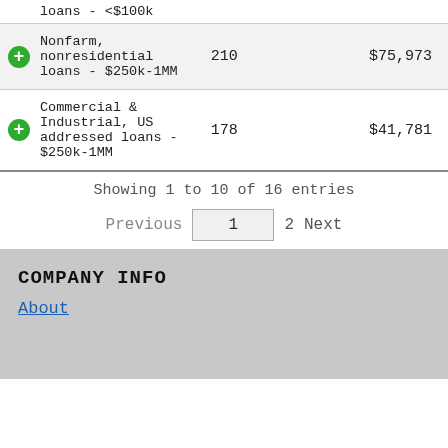loans - <$100k
| Loan Type | Count | Amount |
| --- | --- | --- |
| Nonfarm, nonresidential loans - $250k-1MM | 210 | $75,973 |
| Commercial & Industrial, US addressed loans - $250k-1MM | 178 | $41,781 |
Showing 1 to 10 of 16 entries
Previous  1  2  Next
COMPANY INFO
About